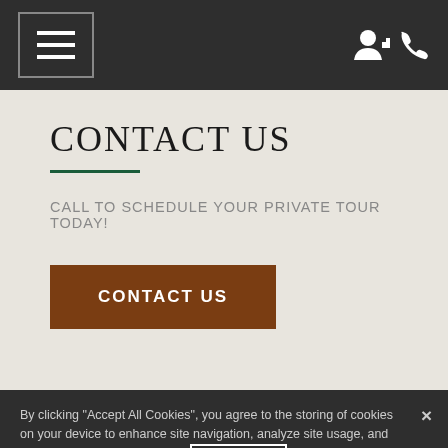Navigation bar with hamburger menu and account/phone icons
CONTACT US
CALL TO SCHEDULE YOUR PRIVATE TOUR TODAY!
CONTACT US (button)
By clicking "Accept All Cookies", you agree to the storing of cookies on your device to enhance site navigation, analyze site usage, and assist in our marketing efforts. Cookie Notice
Cookies Settings
Accept All Cookies